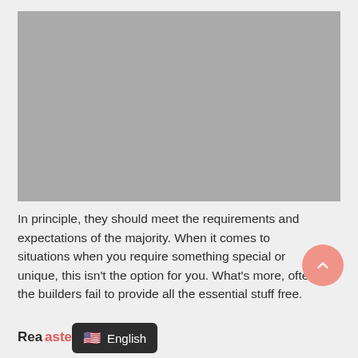[Figure (photo): A large grey placeholder image block]
In principle, they should meet the requirements and expectations of the majority. When it comes to situations when you require something special or unique, this isn't the option for you. What's more, often the builders fail to provide all the essential stuff free.
Read asters News